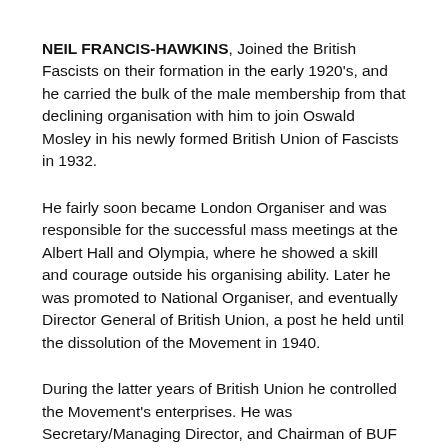NEIL FRANCIS-HAWKINS, Joined the British Fascists on their formation in the early 1920's, and he carried the bulk of the male membership from that declining organisation with him to join Oswald Mosley in his newly formed British Union of Fascists in 1932.
He fairly soon became London Organiser and was responsible for the successful mass meetings at the Albert Hall and Olympia, where he showed a skill and courage outside his organising ability. Later he was promoted to National Organiser, and eventually Director General of British Union, a post he held until the dissolution of the Movement in 1940.
During the latter years of British Union he controlled the Movement's enterprises. He was Secretary/Managing Director, and Chairman of BUF Trust Ltd., and was Trustee and business manager of British Union, BUF Trust controlled seven companies associated with it covering two weekly newspapers, “Action” and “Blackshirt”, publishing, bookselling, general shops, film production, printing, and